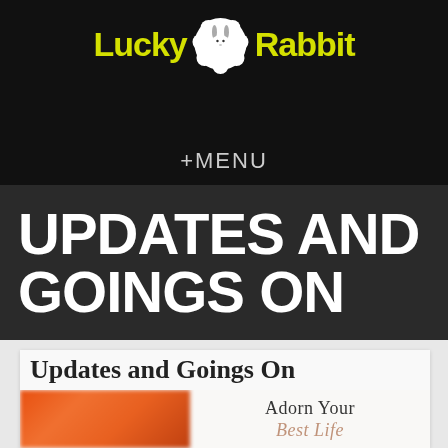[Figure (logo): Lucky Rabbit logo — yellow bold text 'Lucky' and 'Rabbit' flanking a white rabbit silhouette in a decorative white cloud/flower badge, on a black background]
+MENU
UPDATES AND GOINGS ON
Updates and Goings On
[Figure (photo): Blurred orange flower on the left, and text 'Adorn Your Best Life' on a light background on the right]